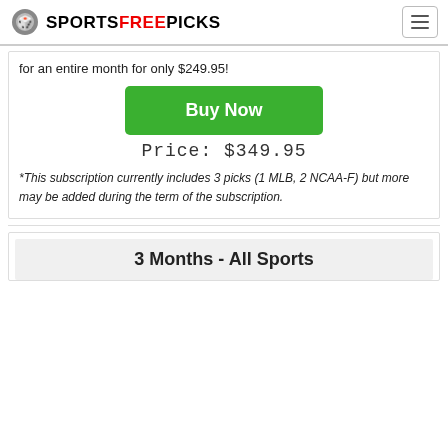SPORTSFREEPICKS
for an entire month for only $249.95!
[Figure (other): Green 'Buy Now' button]
Price: $349.95
*This subscription currently includes 3 picks (1 MLB, 2 NCAA-F) but more may be added during the term of the subscription.
3 Months - All Sports